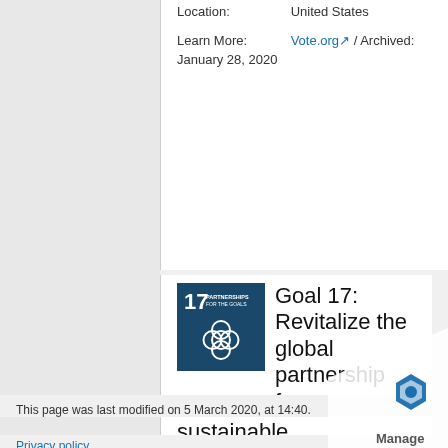Location: United States
Learn More: Vote.org / Archived: January 28, 2020
[Figure (illustration): SDG Goal 17 badge: dark blue square with PARTNERSHIPS FOR THE GOALS text and interconnected circles icon]
Goal 17: Revitalize the global partnership for sustainable development
This page was last modified on 5 March 2020, at 14:40.
Privacy policy   About Public Good App House Wiki   Di...